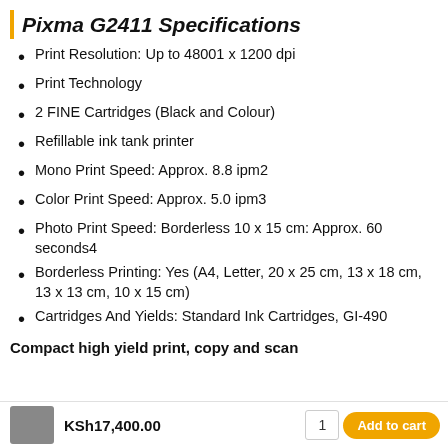Pixma G2411 Specifications
Print Resolution: Up to 48001 x 1200 dpi
Print Technology
2 FINE Cartridges (Black and Colour)
Refillable ink tank printer
Mono Print Speed: Approx. 8.8 ipm2
Color Print Speed: Approx. 5.0 ipm3
Photo Print Speed: Borderless 10 x 15 cm: Approx. 60 seconds4
Borderless Printing: Yes (A4, Letter, 20 x 25 cm, 13 x 18 cm, 13 x 13 cm, 10 x 15 cm)
Cartridges And Yields: Standard Ink Cartridges, GI-490
Compact high yield print, copy and scan
KSh17,400.00   1   Add to cart